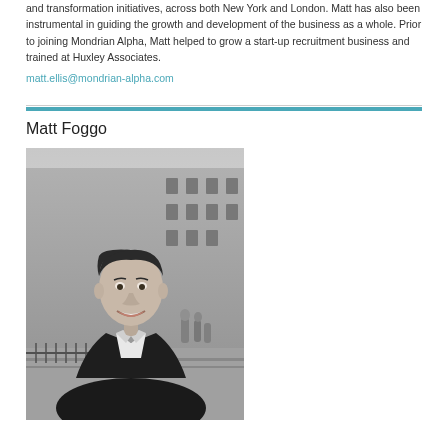and transformation initiatives, across both New York and London. Matt has also been instrumental in guiding the growth and development of the business as a whole. Prior to joining Mondrian Alpha, Matt helped to grow a start-up recruitment business and trained at Huxley Associates.
matt.ellis@mondrian-alpha.com
Matt Foggo
[Figure (photo): Black and white photograph of a young man in a dark suit jacket and white shirt, smiling, standing outdoors in front of a classical stone building facade.]